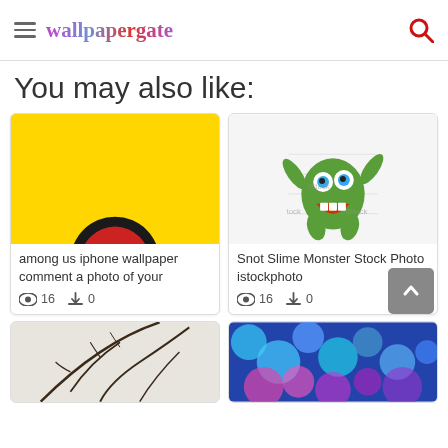wallpapergate
You may also like:
[Figure (photo): Among us iphone wallpaper - yellow background with partial dark circular character at bottom]
among us iphone wallpaper comment a photo of your
16 views, 0 downloads
[Figure (photo): Snot Slime Monster 3D cartoon green monster character with blue eyes, open mouth, arms raised - iStock watermarked image]
Snot Slime Monster Stock Photo istockphoto
16 views, 0 downloads
[Figure (photo): Partial bottom card - dark plant branches on white background]
[Figure (photo): Partial bottom card - colorful blue pink bubbles/droplets abstract background]